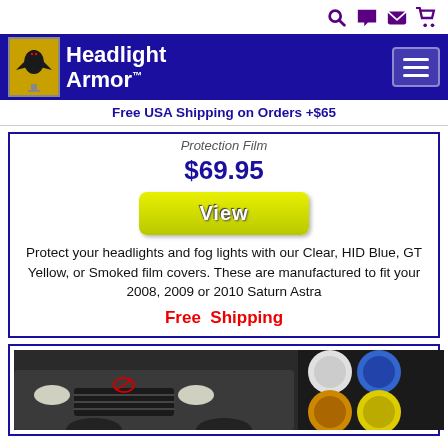Headlight Armor
Free USA Shipping on Orders +$65
Protection Film
$69.95
View
Protect your headlights and fog lights with our Clear, HID Blue, GT Yellow, or Smoked film covers. These are manufactured to fit your 2008, 2009 or 2010 Saturn Astra
Free  Shipping
[Figure (photo): Photo of a Saturn Astra car front with headlights and four circular light filter color samples (clear, blue, amber, yellow)]